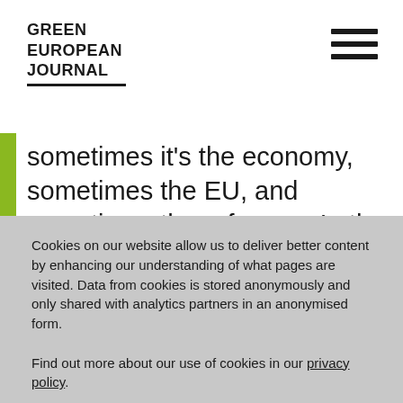GREEN EUROPEAN JOURNAL
sometimes it’s the economy, sometimes the EU, and sometimes the refugees. In the West,
Cookies on our website allow us to deliver better content by enhancing our understanding of what pages are visited. Data from cookies is stored anonymously and only shared with analytics partners in an anonymised form.

Find out more about our use of cookies in our privacy policy.
GOT IT